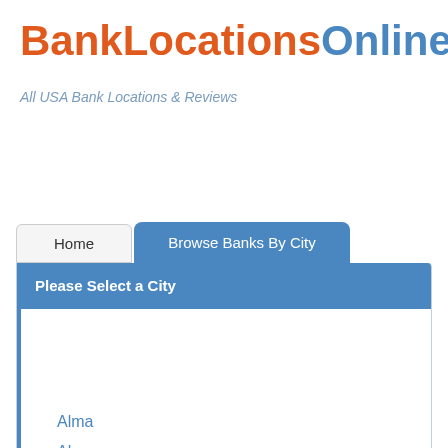BankLocationsOnline.com
All USA Bank Locations & Reviews
Home
Browse Banks By City
Please Select a City
Alma
Alpena